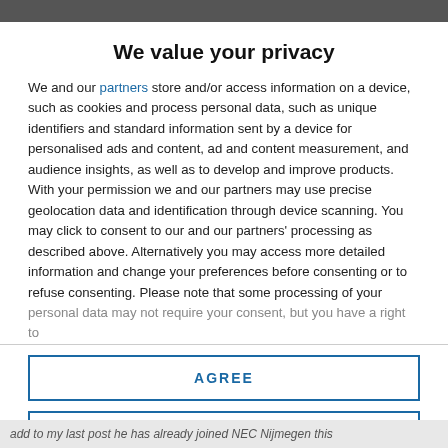We value your privacy
We and our partners store and/or access information on a device, such as cookies and process personal data, such as unique identifiers and standard information sent by a device for personalised ads and content, ad and content measurement, and audience insights, as well as to develop and improve products. With your permission we and our partners may use precise geolocation data and identification through device scanning. You may click to consent to our and our partners' processing as described above. Alternatively you may access more detailed information and change your preferences before consenting or to refuse consenting. Please note that some processing of your personal data may not require your consent, but you have a right to
AGREE
MORE OPTIONS
add to my last post he has already joined NEC Nijmegen this